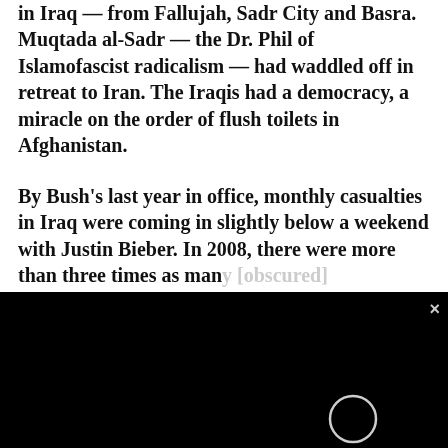in Iraq — from Fallujah, Sadr City and Basra. Muqtada al-Sadr — the Dr. Phil of Islamofascist radicalism — had waddled off in retreat to Iran. The Iraqis had a democracy, a miracle on the order of flush toilets in Afghanistan.
By Bush's last year in office, monthly casualties in Iraq were coming in slightly below a weekend with Justin Bieber. In 2008, there were more than three times as many [obscured] troop deaths in the [obscured] 155).
[Figure (other): Black video overlay/player with circular loading indicator and close (x) button in top right corner, partially obscuring the article text.]
On May 30, The Wa[shington Times reported CIA] Director Michael [Hayden described al-] Qaida) as essential[ly defeated in Iraq and Saudi] Arabia and on the defensive throughout much of the rest of the world ..." Even hysterics at The New York Times admitted that al-Qaida and other terrorist groups had nearly disappeared from